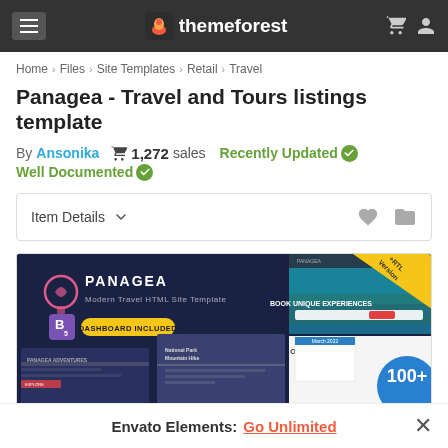themeforest
Home > Files > Site Templates > Retail > Travel
Panagea - Travel and Tours listings template
By Ansonika  1,272 sales  Recently Updated  Well Documented
Item Details
[Figure (screenshot): Screenshot of Panagea Modern Travel HTML Site Template showing multiple pages including dashboard and tour booking interfaces with '100+' label visible]
Envato Elements: Go Unlimited